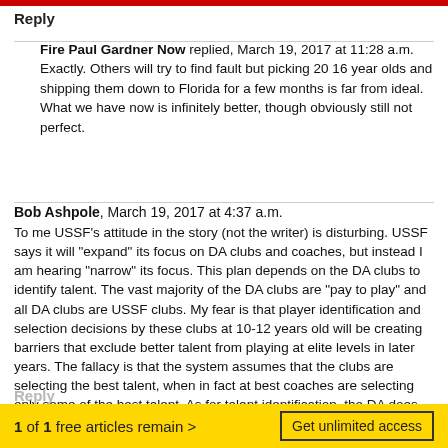Reply
Fire Paul Gardner Now replied, March 19, 2017 at 11:28 a.m. Exactly. Others will try to find fault but picking 20 16 year olds and shipping them down to Florida for a few months is far from ideal. What we have now is infinitely better, though obviously still not perfect.
Bob Ashpole, March 19, 2017 at 4:37 a.m. To me USSF's attitude in the story (not the writer) is disturbing. USSF says it will "expand" its focus on DA clubs and coaches, but instead I am hearing "narrow" its focus. This plan depends on the DA clubs to identify talent. The vast majority of the DA clubs are "pay to play" and all DA clubs are USSF clubs. My fear is that player identification and selection decisions by these clubs at 10-12 years old will be creating barriers that exclude better talent from playing at elite levels in later years. The fallacy is that the system assumes that the clubs are selecting the best talent, when in fact at best coaches are selecting only some of the best talent. As for talent identification, the DA does not follow the Bradenton model as the DA U17 teams are selected from players in the DA clubs.
1 of 1 free articles remain > Get unlimited access